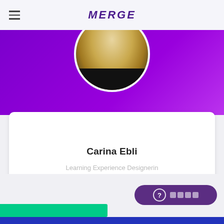MERGE
[Figure (photo): Profile photo of Carina Ebli showing blonde hair on a purple background banner]
Carina Ebli
Learning Experience Designerin
Mellach, Austria
@CarinaEbli